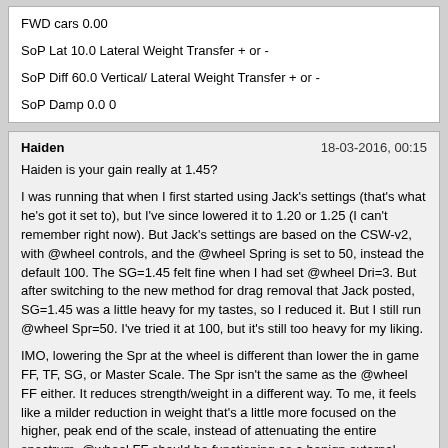FWD cars 0.00

SoP Lat 10.0 Lateral Weight Transfer + or -

SoP Diff 60.0 Vertical/ Lateral Weight Transfer + or -

SoP Damp 0.0 0
Haiden | 18-03-2016, 00:15

Haiden is your gain really at 1.45?

I was running that when I first started using Jack's settings (that's what he's got it set to), but I've since lowered it to 1.20 or 1.25 (I can't remember right now). But Jack's settings are based on the CSW-v2, with @wheel controls, and the @wheel Spring is set to 50, instead the default 100. The SG=1.45 felt fine when I had set @wheel Dri=3. But after switching to the new method for drag removal that Jack posted, SG=1.45 was a little heavy for my tastes, so I reduced it. But I still run @wheel Spr=50. I've tried it at 100, but it's still too heavy for my liking.

IMO, lowering the Spr at the wheel is different than lower the in game FF, TF, SG, or Master Scale. The Spr isn't the same as the @wheel FF either. It reduces strength/weight in a different way. To me, it feels like a milder reduction in weight that's a little more focused on the higher, peak end of the scale, instead of attenuating the entire spectrum. @wheel FF should be functioning as a benign external attenuator, as well. But the FF override bug/glitch or whatever it is, doesn't allow it to be used as such. The general rule of thumb that I learned and follow is, whenever possible, tune the FFB in-game to the highest level you can while maintaining max fidelity, then when it comes to simple, pure strength reduction, do that externally (@wheel or driver control panel). Again, whenever possible. If you don't have external attenuation, then you have to tune fidelity and strength in-game, which means the game output may have good fidelity, but it may not be the highest level clean/clear signal that the game is capable of producing. Does that matter? I don't know. It just makes sense to me and has delivered good results, so I follow the rule. :) But I